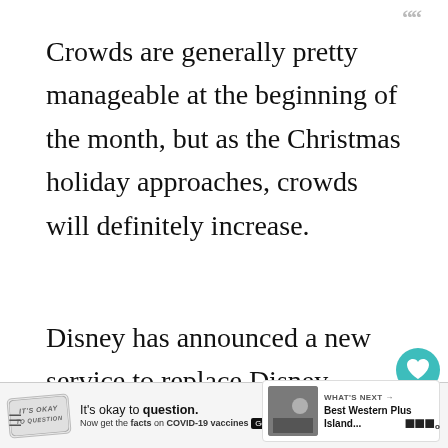[Figure (other): Decorative quotation mark icons in gray at top right corner]
Crowds are generally pretty manageable at the beginning of the month, but as the Christmas holiday approaches, crowds will definitely increase.
Disney has announced a new service to replace Disney MaxPass and Fastpasses, called Disney Genie. Disney Genie and Disney Genie+ are designed to help the crowds. Read all about this new service
[Figure (other): Heart (favorite) icon button in teal circle]
[Figure (other): Share icon button]
[Figure (other): What's Next card thumbnail showing Best Western Plus Island...]
[Figure (other): Advertisement bar: It's okay to question. Now get the facts on COVID-19 vaccines. GetVaccineAnswers.org]